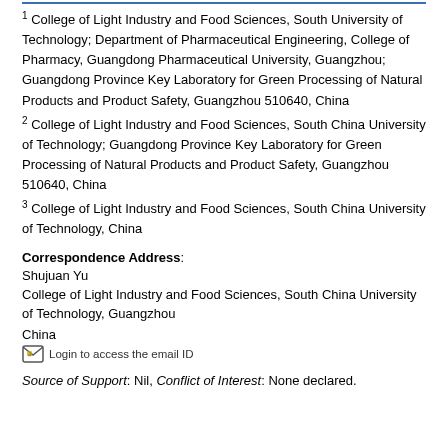1 College of Light Industry and Food Sciences, South University of Technology; Department of Pharmaceutical Engineering, College of Pharmacy, Guangdong Pharmaceutical University, Guangzhou; Guangdong Province Key Laboratory for Green Processing of Natural Products and Product Safety, Guangzhou 510640, China
2 College of Light Industry and Food Sciences, South China University of Technology; Guangdong Province Key Laboratory for Green Processing of Natural Products and Product Safety, Guangzhou 510640, China
3 College of Light Industry and Food Sciences, South China University of Technology, China
Correspondence Address:
Shujuan Yu
College of Light Industry and Food Sciences, South China University of Technology, Guangzhou
China
Login to access the email ID
Source of Support: Nil, Conflict of Interest: None declared.